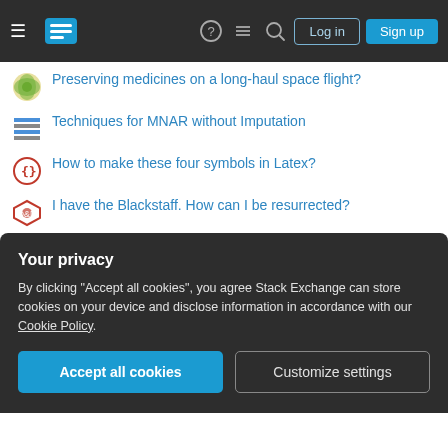[Figure (screenshot): Stack Exchange network navigation bar with hamburger menu, logo, help, chat, search icons, Log in and Sign up buttons on dark background]
Preserving medicines on a long-haul space flight?
Techniques for MNAR without Imputation
How to make these four symbols in Latex?
I have the Blackstaff. How can I be resurrected?
Are trivial user interface concepts patentable and can they be used?
Stubbornly gender-neutral way to address or refer to your older sibling? (Wait a minute...what about non-binary?)
Short story: aliens change world at housewife's accidental request
Why can't we have hardware-specific graphics APIs?
Your privacy
By clicking "Accept all cookies", you agree Stack Exchange can store cookies on your device and disclose information in accordance with our Cookie Policy.
What could be the main source of national income for a small nation